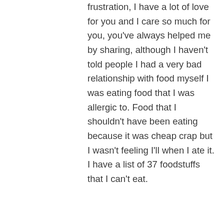frustration, I have a lot of love for you and I care so much for you, you've always helped me by sharing, although I haven't told people I had a very bad relationship with food myself I was eating food that I was allergic to. Food that I shouldn't have been eating because it was cheap crap but I wasn't feeling I'll when I ate it. I have a list of 37 foodstuffs that I can't eat.